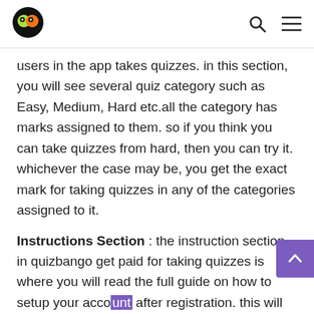[Logo] [Search icon] [Menu icon]
users in the app takes quizzes. in this section, you will see several quiz category such as Easy, Medium, Hard etc.all the category has marks assigned to them. so if you think you can take quizzes from hard, then you can try it. whichever the case may be, you get the exact mark for taking quizzes in any of the categories assigned to it.
Instructions Section : the instruction section in quizbango get paid for taking quizzes is where you will read the full guide on how to setup your account after registration. this will guide you through the process of using quizbango to take quiz and earn